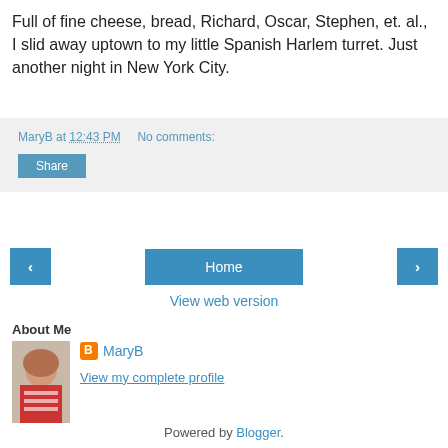Full of fine cheese, bread, Richard, Oscar, Stephen, et. al., I slid away uptown to my little Spanish Harlem turret. Just another night in New York City.
MaryB at 12:43 PM   No comments:
Share
‹   Home   ›
View web version
About Me
[Figure (photo): Profile photo of MaryB – woman with reddish-brown hair wearing a red striped top]
MaryB
View my complete profile
Powered by Blogger.